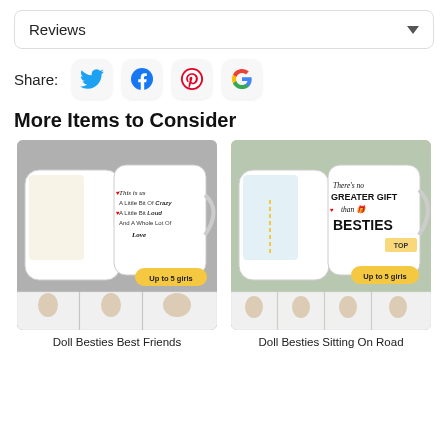Reviews
Share:
[Figure (infographic): Social share icons: Twitter, Facebook, Pinterest, Google]
More Items to Consider
[Figure (photo): Photo of two white mugs with cartoon doll besties illustration. Text on mug: 'This is us A Little Bit Of Crazy A Little Bit Loud And A Whole Lot Of Love'. Up to 5 girls badge. Three thumbnail variations below.]
Doll Besties Best Friends
[Figure (photo): Photo of two white mugs with cartoon doll besties on road illustration. Text on mug: 'There's no GREATER GIFT than BESTIES'. TOP label. Up to 5 girls badge. Four thumbnail variations below.]
Doll Besties Sitting On Road